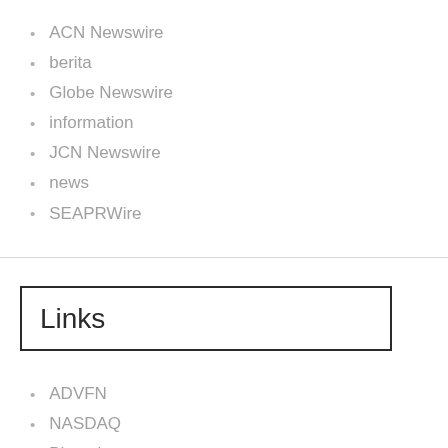ACN Newswire
berita
Globe Newswire
information
JCN Newswire
news
SEAPRWire
Links
ADVFN
NASDAQ
Bloomberg
Newswire
EastMud
AsiaEase
NetDace
PostVN